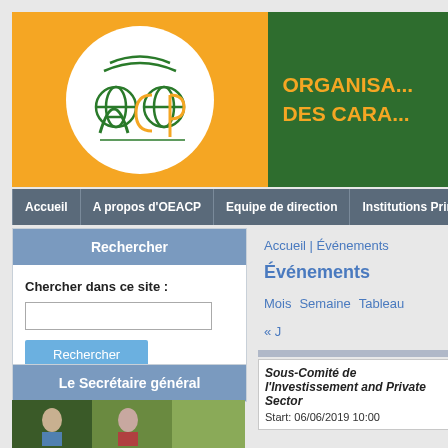[Figure (logo): OACP organization logo - orange and green circular emblem with stylized letters and globe icons]
ORGANISA... DES CARA...
Accueil | A propos d'OEACP | Equipe de direction | Institutions Princ...
Rechercher
Chercher dans ce site :
Le Secrétaire général
Accueil | Événements
Événements
Mois   Semaine   Tableau
« J
Sous-Comité de l'Investissement and Private Sector
Start: 06/06/2019 10:00